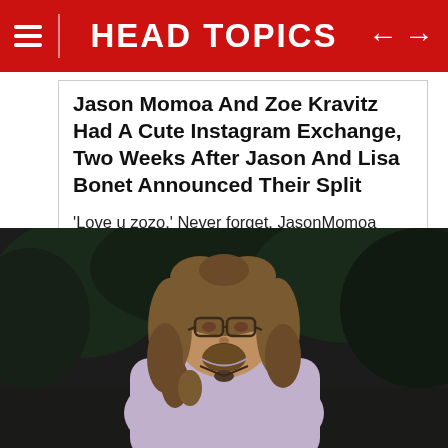HEAD TOPICS
Jason Momoa And Zoe Kravitz Had A Cute Instagram Exchange, Two Weeks After Jason And Lisa Bonet Announced Their Split
'Love u zozo.' Never forget. JasonMomoa JasonMomoaPedophile
[Figure (photo): Photo of a man with long curly hair and glasses wearing a light purple/lavender shirt, standing outdoors with dark foliage in background]